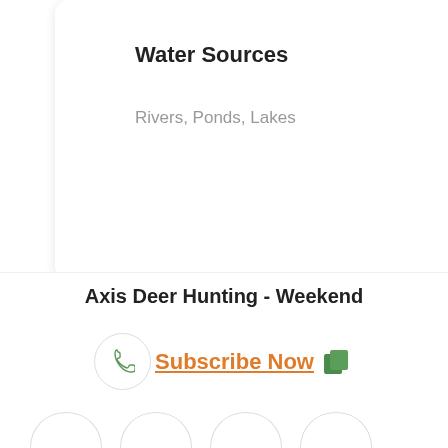Water Sources
Rivers, Ponds, Lakes
AMENITIES
[Figure (infographic): Four amenity icons in rounded cards: Weapon (pistol icon), Restroom (toilet icon), Refrigerator (fridge icon), Private (person with lock icon). Labels below each icon.]
Axis Deer Hunting - Weekend
Subscribe Now